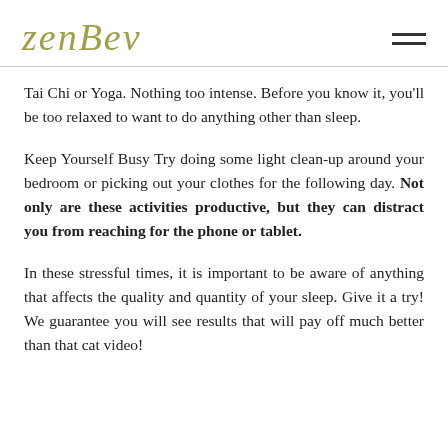ZenBev
Tai Chi or Yoga. Nothing too intense. Before you know it, you'll be too relaxed to want to do anything other than sleep.
Keep Yourself Busy Try doing some light clean-up around your bedroom or picking out your clothes for the following day. Not only are these activities productive, but they can distract you from reaching for the phone or tablet.
In these stressful times, it is important to be aware of anything that affects the quality and quantity of your sleep. Give it a try! We guarantee you will see results that will pay off much better than that cat video!